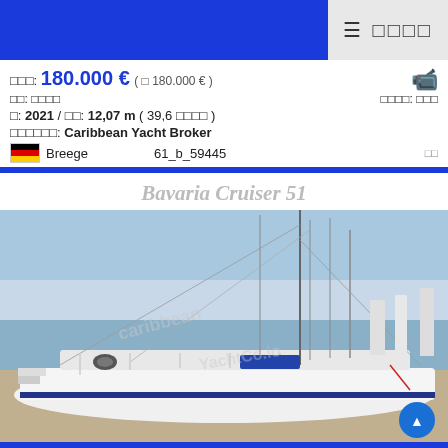≡ □□□□
□□□: 180.000 € ( □ 180.000 € )
□□: □□□□   □□□□: □□□
□: 2021 / □□: 12,07 m ( 39,6 □□□□ )
□□□□□□: Caribbean Yacht Broker
🇩🇪 Breege   61_b_59445   □□
Bavaria Cruiser 51
[Figure (photo): Photo of Bavaria Cruiser 51 sailing yacht moored at marina, showing deck, mast, rigging, and other boats in background. Watermark text visible on image.]